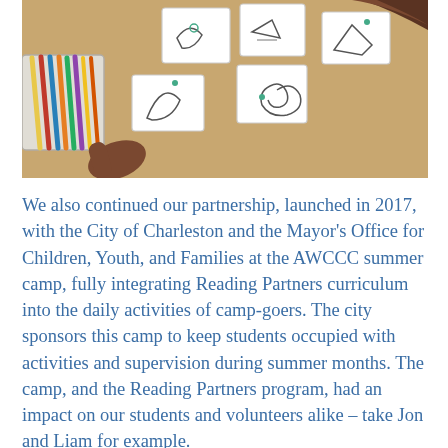[Figure (photo): Top-down view of a child's hands at a table with scattered illustrated cards and a tray of colored pencils and crayons. The child is wearing a red shirt.]
We also continued our partnership, launched in 2017, with the City of Charleston and the Mayor's Office for Children, Youth, and Families at the AWCCC summer camp, fully integrating Reading Partners curriculum into the daily activities of camp-goers. The city sponsors this camp to keep students occupied with activities and supervision during summer months. The camp, and the Reading Partners program, had an impact on our students and volunteers alike – take Jon and Liam for example.